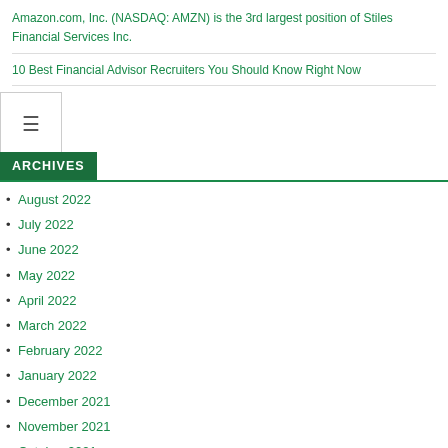Amazon.com, Inc. (NASDAQ: AMZN) is the 3rd largest position of Stiles Financial Services Inc.
10 Best Financial Advisor Recruiters You Should Know Right Now
ARCHIVES
August 2022
July 2022
June 2022
May 2022
April 2022
March 2022
February 2022
January 2022
December 2021
November 2021
October 2021